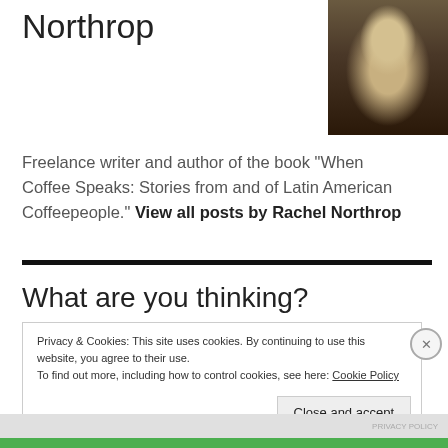Northrop
[Figure (photo): Black and white / sepia photo of a smiling woman with long dark hair]
Freelance writer and author of the book "When Coffee Speaks: Stories from and of Latin American Coffeepeople." View all posts by Rachel Northrop
What are you thinking?
Privacy & Cookies: This site uses cookies. By continuing to use this website, you agree to their use.
To find out more, including how to control cookies, see here: Cookie Policy